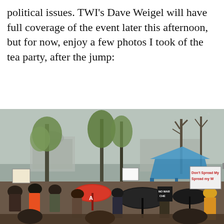political issues. TWI's Dave Weigel will have full coverage of the event later this afternoon, but for now, enjoy a few photos I took of the tea party, after the jump:
[Figure (photo): Outdoor crowd scene at a tea party rally. Many people holding protest signs, some with umbrellas including red and black ones. Trees with early spring leaves visible, a blue tent/canopy on the right side, and large buildings visible in the background. Overcast sky.]